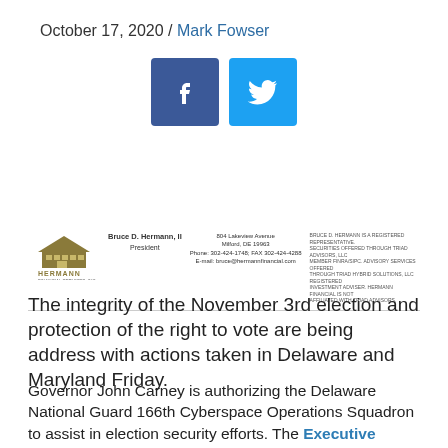October 17, 2020 / Mark Fowser
[Figure (other): Facebook and Twitter social sharing icons]
[Figure (logo): Hermann Financial Services logo with letterhead information: Bruce D. Hermann, II, President; 804 Lakeview Avenue, Milford, DE 19963; Phone: 302-424-1748; FAX 302-424-4288; E-mail: bruce@hermannfinancial.com; disclaimer text about registered representative and advisory services]
The integrity of the November 3rd election and protection of the right to vote are being address with actions taken in Delaware and Maryland Friday.
Governor John Carney is authorizing the Delaware National Guard 166th Cyberspace Operations Squadron to assist in election security efforts. The Executive Order is intended to secure its cybersecurity assistance in protection Delaware's